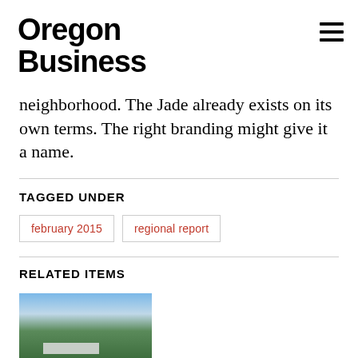Oregon Business
neighborhood. The Jade already exists on its own terms. The right branding might give it a name.
TAGGED UNDER
february 2015
regional report
RELATED ITEMS
[Figure (photo): Outdoor landscape photo showing trees and sky, related article thumbnail]